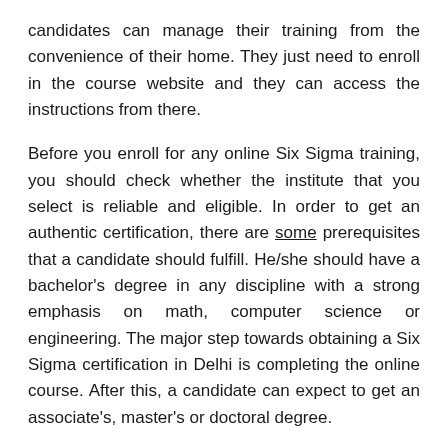candidates can manage their training from the convenience of their home. They just need to enroll in the course website and they can access the instructions from there.
Before you enroll for any online Six Sigma training, you should check whether the institute that you select is reliable and eligible. In order to get an authentic certification, there are some prerequisites that a candidate should fulfill. He/she should have a bachelor's degree in any discipline with a strong emphasis on math, computer science or engineering. The major step towards obtaining a Six Sigma certification in Delhi is completing the online course. After this, a candidate can expect to get an associate's, master's or doctoral degree.
The price of a Six Sigma training course in Delhi is quite affordable as compared to others. Many companies also offer financial assistance after training. This assistance is afforded to all the employees who join their organization...